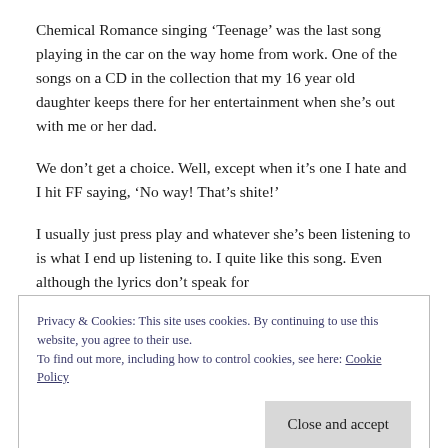Chemical Romance singing ‘Teenage’ was the last song playing in the car on the way home from work. One of the songs on a CD in the collection that my 16 year old daughter keeps there for her entertainment when she’s out with me or her dad.
We don’t get a choice. Well, except when it’s one I hate and I hit FF saying, ‘No way! That’s shite!’
I usually just press play and whatever she’s been listening to is what I end up listening to. I quite like this song. Even although the lyrics don’t speak for
Privacy & Cookies: This site uses cookies. By continuing to use this website, you agree to their use.
To find out more, including how to control cookies, see here: Cookie Policy
Some of them are a pain in the arse at times. But I